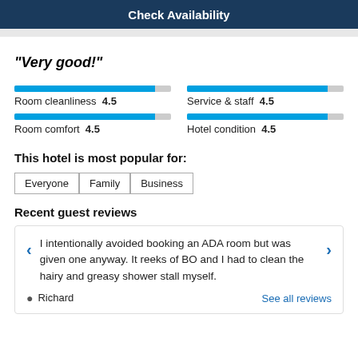Check Availability
"Very good!"
[Figure (other): Rating bar for Room cleanliness: 4.5 out of 5]
Room cleanliness  4.5
[Figure (other): Rating bar for Service & staff: 4.5 out of 5]
Service & staff  4.5
[Figure (other): Rating bar for Room comfort: 4.5 out of 5]
Room comfort  4.5
[Figure (other): Rating bar for Hotel condition: 4.5 out of 5]
Hotel condition  4.5
This hotel is most popular for:
Everyone
Family
Business
Recent guest reviews
I intentionally avoided booking an ADA room but was given one anyway. It reeks of BO and I had to clean the hairy and greasy shower stall myself.
Richard
See all reviews